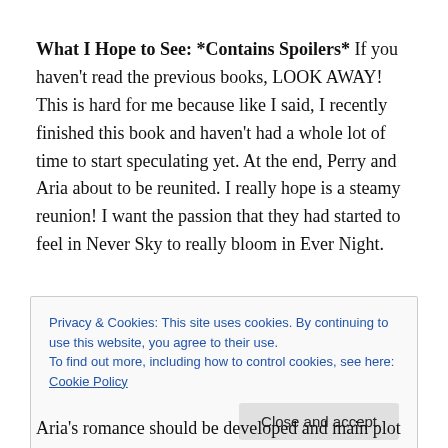What I Hope to See: *Contains Spoilers* If you haven't read the previous books, LOOK AWAY! This is hard for me because like I said, I recently finished this book and haven't had a whole lot of time to start speculating yet. At the end, Perry and Aria about to be reunited. I really hope is a steamy reunion! I want the passion that they had started to feel in Never Sky to really bloom in Ever Night.
Privacy & Cookies: This site uses cookies. By continuing to use this website, you agree to their use. To find out more, including how to control cookies, see here: Cookie Policy
Aria's romance should be developed and main plot line of